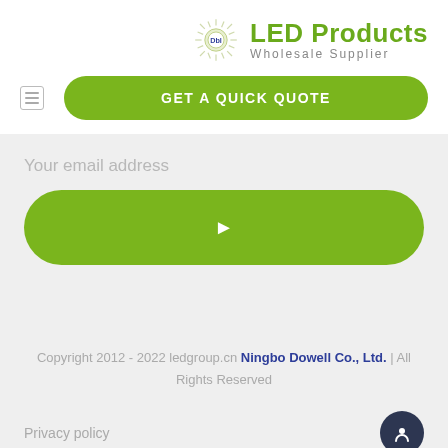[Figure (logo): LED Products Wholesale Supplier logo with sunburst/LED icon in green]
[Figure (other): Hamburger menu icon (three horizontal lines in a rectangle border)]
[Figure (other): GET A QUICK QUOTE green rounded button]
Your email address
[Figure (other): Green rounded subscribe/submit button with arrow icon]
Copyright 2012 - 2022 ledgroup.cn Ningbo Dowell Co., Ltd. | All Rights Reserved
Privacy policy